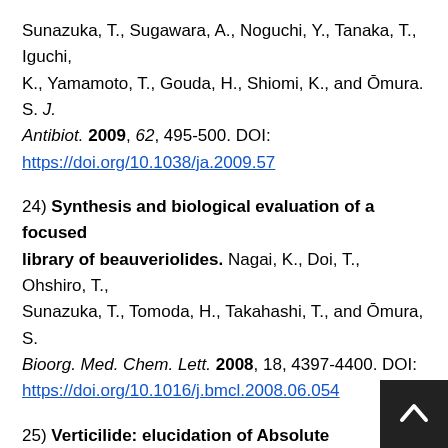Sunazuka, T., Sugawara, A., Noguchi, Y., Tanaka, T., Iguchi, K., Yamamoto, T., Gouda, H., Shiomi, K., and Ōmura. S. J. Antibiot. 2009, 62, 495-500. DOI: https://doi.org/10.1038/ja.2009.57
24) Synthesis and biological evaluation of a focused library of beauveriolides. Nagai, K., Doi, T., Ohshiro, T., Sunazuka, T., Tomoda, H., Takahashi, T., and Ōmura, S. Bioorg. Med. Chem. Lett. 2008, 18, 4397-4400. DOI: https://doi.org/10.1016/j.bmcl.2008.06.054
25) Verticilide: elucidation of Absolute Configuration and Total Synthesis. Monma, S., Sunazuka, T., Nagai, K., Arai, T., Shiomi, K., Matsui, R., Ōmura, S. Organic Lett. 2006, 8, 5601-5604. DOI: https://doi.org/10.1021/ol0623365